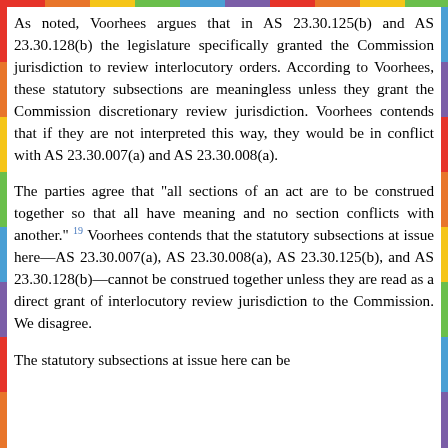As noted, Voorhees argues that in AS 23.30.125(b) and AS 23.30.128(b) the legislature specifically granted the Commission jurisdiction to review interlocutory orders. According to Voorhees, these statutory subsections are meaningless unless they grant the Commission discretionary review jurisdiction. Voorhees contends that if they are not interpreted this way, they would be in conflict with AS 23.30.007(a) and AS 23.30.008(a).
The parties agree that "all sections of an act are to be construed together so that all have meaning and no section conflicts with another." 19 Voorhees contends that the statutory subsections at issue here—AS 23.30.007(a), AS 23.30.008(a), AS 23.30.125(b), and AS 23.30.128(b)—cannot be construed together unless they are read as a direct grant of interlocutory review jurisdiction to the Commission. We disagree.
The statutory subsections at issue here can be